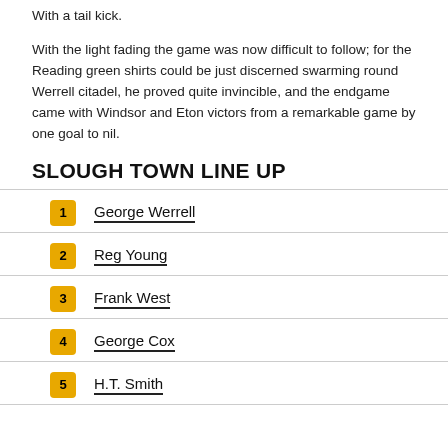With a tail kick.
With the light fading the game was now difficult to follow; for the Reading green shirts could be just discerned swarming round Werrell citadel, he proved quite invincible, and the endgame came with Windsor and Eton victors from a remarkable game by one goal to nil.
SLOUGH TOWN LINE UP
1 George Werrell
2 Reg Young
3 Frank West
4 George Cox
5 H.T. Smith